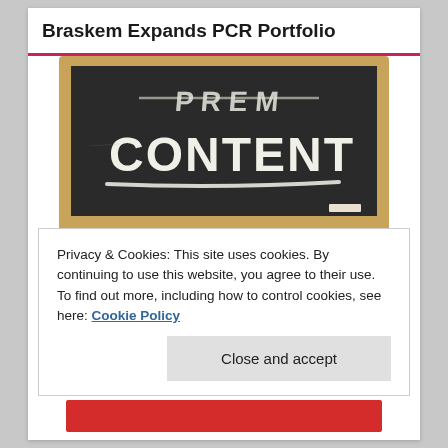Braskem Expands PCR Portfolio
[Figure (photo): Chalkboard with 'PREMIUM CONTENT' written in chalk, framed in wood]
Privacy & Cookies: This site uses cookies. By continuing to use this website, you agree to their use.
To find out more, including how to control cookies, see here: Cookie Policy
Close and accept